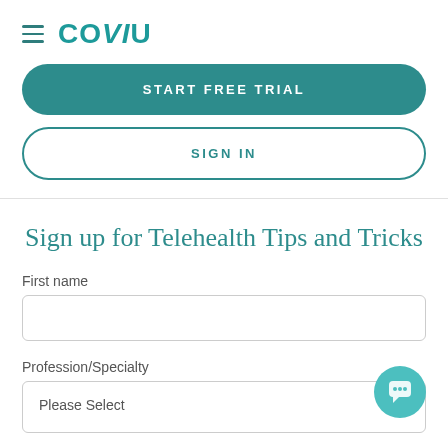[Figure (logo): Coviu logo with hamburger menu icon. Teal colored text reading COVIU with hamburger menu to the left.]
START FREE TRIAL
SIGN IN
Sign up for Telehealth Tips and Tricks
First name
Profession/Specialty
Please Select
Email